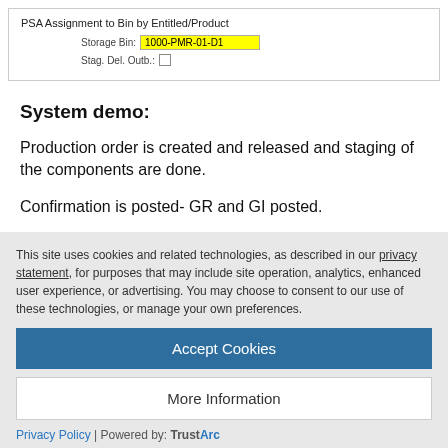[Figure (screenshot): Screenshot of PSA Assignment to Bin by Entitled/Product form showing Storage Bin field with value 1000-PMR-01-D1 highlighted in yellow, and Stag. Del. Outb. checkbox]
System demo:
Production order is created and released and staging of the components are done.
Confirmation is posted- GR and GI posted.
This site uses cookies and related technologies, as described in our privacy statement, for purposes that may include site operation, analytics, enhanced user experience, or advertising. You may choose to consent to our use of these technologies, or manage your own preferences.
Accept Cookies
More Information
Privacy Policy | Powered by: TrustArc